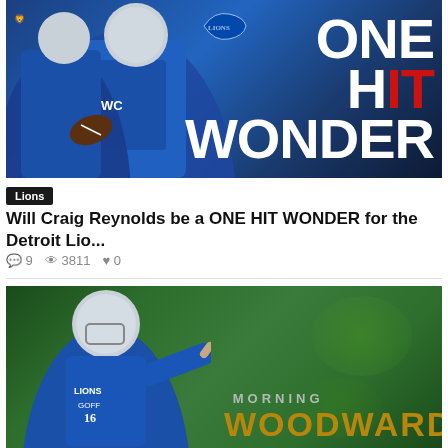[Figure (photo): Detroit Lions football players in blue uniforms with 'ONE HIT WONDER' text overlay and Lions logo. Two players visible, one carrying a football.]
Lions
Will Craig Reynolds be a ONE HIT WONDER for the Detroit Lio...
💬 9   👁 3811   ♥ 0
[Figure (photo): Detroit Lions quarterback Jared Goff (#16) in blue uniform pointing, with 'MORNING WOODWARD' text overlay on green background.]